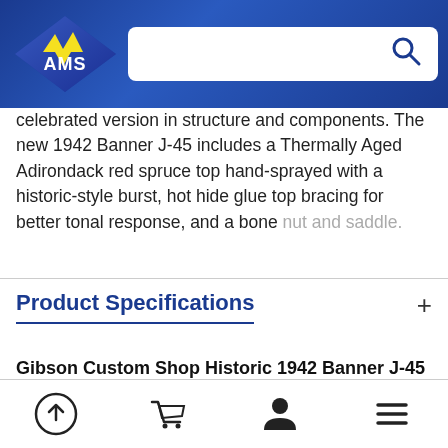[Figure (logo): AMS logo — yellow/white stylized text on blue gradient background with search bar to the right]
celebrated version in structure and components. The new 1942 Banner J-45 includes a Thermally Aged Adirondack red spruce top hand-sprayed with a historic-style burst, hot hide glue top bracing for better tonal response, and a bone nut and saddle.
Product Specifications
Gibson Custom Shop Historic 1942 Banner J-45 Acoustic Specifications
Body Shape: J-45
Top: Thermally Aged Red spruce
[Figure (screenshot): Bottom navigation bar with four icons: upload/share arrow in circle, shopping cart, user/person silhouette, hamburger menu lines]